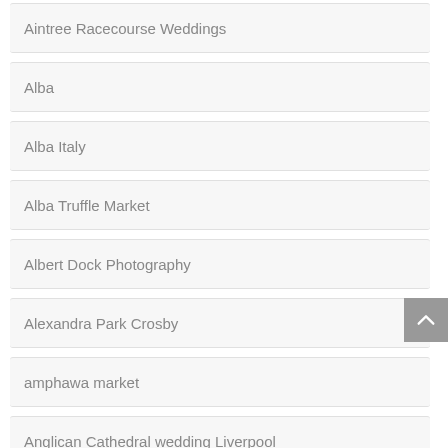Aintree Racecourse Weddings
Alba
Alba Italy
Alba Truffle Market
Albert Dock Photography
Alexandra Park Crosby
amphawa market
Anglican Cathedral wedding Liverpool
Annie & Alastair Wayfarers Arcade